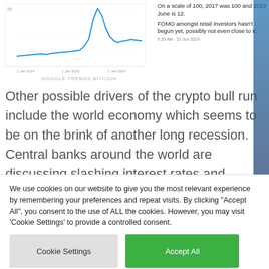[Figure (continuous-plot): Google Trends Bitcoin line chart showing search interest over time from 1 Jan 2014 to 1 Jan 2019, with a large spike around 2018. Caption reads 'GOOGLE TRENDS BITCOIN'.]
On a scale of 100, 2017 was 100 and 2019 June is 12.

FOMO amongst retail investors hasn't begun yet, possibly not even close to it.

6:35 AM · 22 Jun 2019
Other possible drivers of the crypto bull run include the world economy which seems to be on the brink of another long recession. Central banks around the world are discussing slashing interest rates and people speculate the U.S. Federal Reserve may do the same this July. An
We use cookies on our website to give you the most relevant experience by remembering your preferences and repeat visits. By clicking "Accept All", you consent to the use of ALL the cookies. However, you may visit 'Cookie Settings' to provide a controlled consent.